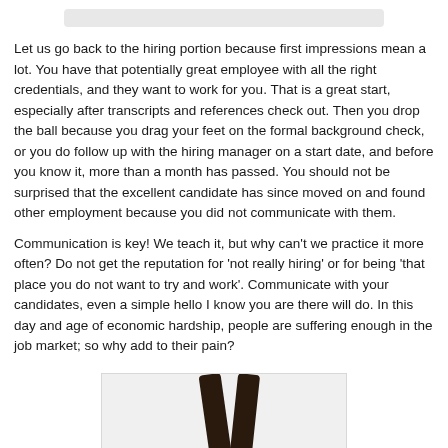[Figure (photo): Partial decorative image at top of page, light gray bar/strip]
Let us go back to the hiring portion because first impressions mean a lot. You have that potentially great employee with all the right credentials, and they want to work for you. That is a great start, especially after transcripts and references check out. Then you drop the ball because you drag your feet on the formal background check, or you do follow up with the hiring manager on a start date, and before you know it, more than a month has passed. You should not be surprised that the excellent candidate has since moved on and found other employment because you did not communicate with them.
Communication is key! We teach it, but why can’t we practice it more often? Do not get the reputation for ‘not really hiring’ or for being ‘that place you do not want to try and work’. Communicate with your candidates, even a simple hello I know you are there will do. In this day and age of economic hardship, people are suffering enough in the job market; so why add to their pain?
[Figure (photo): Partial photo at bottom of page showing dark ribbon-like objects on light background]